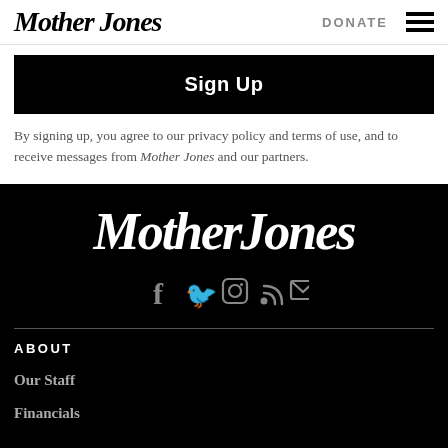Mother Jones | DONATE
Sign Up
By signing up, you agree to our privacy policy and terms of use, and to receive messages from Mother Jones and our partners.
[Figure (logo): Mother Jones logo in white on black background]
[Figure (infographic): Social media icons: Facebook, Twitter, Instagram, RSS, Email]
ABOUT
Our Staff
Financials